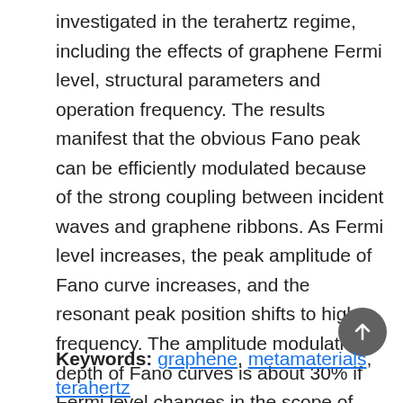investigated in the terahertz regime, including the effects of graphene Fermi level, structural parameters and operation frequency. The results manifest that the obvious Fano peak can be efficiently modulated because of the strong coupling between incident waves and graphene ribbons. As Fermi level increases, the peak amplitude of Fano curve increases, and the resonant peak position shifts to high frequency. The amplitude modulation depth of Fano curves is about 30% if Fermi level changes in the scope of 0.1-1.0 eV. The optimum gap distance between DR is about 8-12 μm, where the value of figure of merit shows a peak. As the graphene ribbon width increases, the Fano spectral curves become broad, and the resonant peak denotes blue shift. The results are very helpful to develop novel graphene plasmonic devices, e.g. sensors and modulators.
Keywords: graphene, metamaterials, terahertz